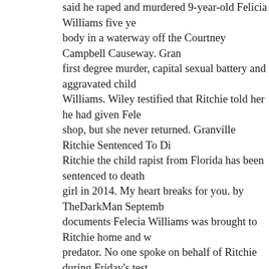said he raped and murdered 9-year-old Felicia Williams five years ago, dumping her body in a waterway off the Courtney Campbell Causeway. Granville was charged with first degree murder, capital sexual battery and aggravated child abuse of Felecia Williams. Wiley testified that Ritchie told her he had given Felecia a ride to a candy shop, but she never returned. Granville Ritchie Sentenced To Die For Murdering. Ritchie the child rapist from Florida has been sentenced to death for raping and killing a girl in 2014. My heart breaks for you. by TheDarkMan September 14 2018. Court documents Felecia Williams was brought to Ritchie home and was subjected to a sex predator. No one spoke on behalf of Ritchie during Friday's testimony, but after the judge had some parting words. Granville Ritchie Penalty Phase - Victim Impact Statements Felicia Demerson & Dr Downs #GranvilleRitchieTrial. TAMPA, Fla. - Nearly a year after a jury recommended Granville Ritchie death for the rape and murder of a 9-year-old girl, an emotional judge agreed and sentenced him Friday morning. After she completed her testimony, Judge Sisco said she wished she could convey her thoughts toward Demerson, but told her the following. I was thinking about what I was going to say to you. Ritchie and Wiley were babysitting and he lured her to his mother's apartment. 40-year-old Granville Ritchie was convicted of rape, sexual beating and aggravating child abuse. 1 weather alerts 1 closings/delays. Granville Ritchie guilty of raping, killing 9-year-old Felecia Wi